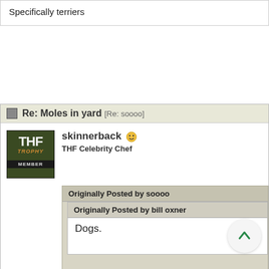Specifically terriers
Re: Moles in yard [Re: soooo]
skinnerback
THF Celebrity Chef
Originally Posted by soooo
Originally Posted by bill oxner
Dogs.